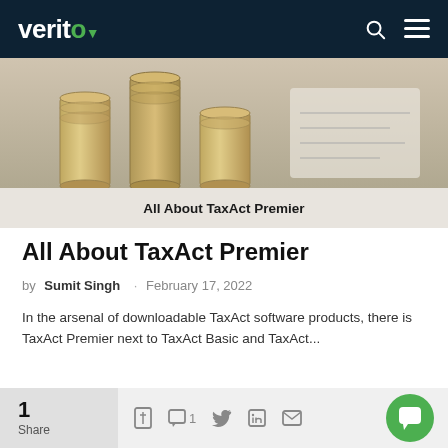verito
[Figure (photo): Stacked coins on a light background with a clock or notebook visible, representing financial/tax content. Caption reads: All About TaxAct Premier]
All About TaxAct Premier
All About TaxAct Premier
by Sumit Singh · February 17, 2022
In the arsenal of downloadable TaxAct software products, there is TaxAct Premier next to TaxAct Basic and TaxAct...
1 Share